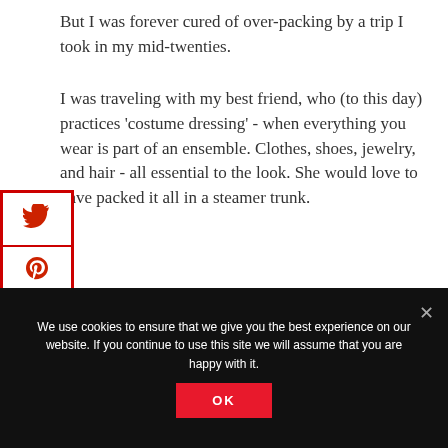But I was forever cured of over-packing by a trip I took in my mid-twenties.
I was traveling with my best friend, who (to this day) practices 'costume dressing' - when everything you wear is part of an ensemble. Clothes, shoes, jewelry, and hair - all essential to the look. She would love to have packed it all in a steamer trunk.
[Figure (other): Social media share buttons sidebar: Twitter bird icon and Pinterest P icon, outlined in red border boxes]
We use cookies to ensure that we give you the best experience on our website. If you continue to use this site we will assume that you are happy with it.